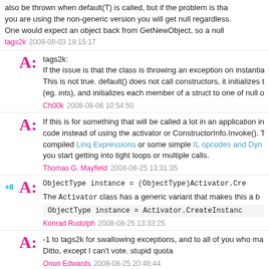also be thrown when default(T) is called, but if the problem is that you are using the non-generic version you will get null regardless. One would expect an object back from GetNewObject, so a null
tags2k  2008-08-03 19:15:17
tags2k:
If the issue is that the class is throwing an exception on instantia... This is not true. default() does not call constructors, it initializes t... (eg. ints), and initializes each member of a struct to one of null o...
Ch00k  2008-08-06 10:54:50
If this is for something that will be called a lot in an application in... code instead of using the activator or ConstructorInfo.Invoke(). T... compiled Linq Expressions or some simple IL opcodes and Dyn... you start getting into tight loops or multiple calls.
Thomas G. Mayfield  2008-08-25 13:31:35
ObjectType instance = (ObjectType)Activator.Cre...
The Activator class has a generic variant that makes this a b...
ObjectType instance = Activator.CreateInstanc...
Konrad Rudolph  2008-08-25 13:33:25
-1 to tags2k for swallowing exceptions, and to all of you who ma... Ditto, except I can't vote. stupid quota
Orion Edwards  2008-08-25 20:46:44
Wouldnt the generic "new T();" work?
boomhauer  2010-08-17 14:30:14